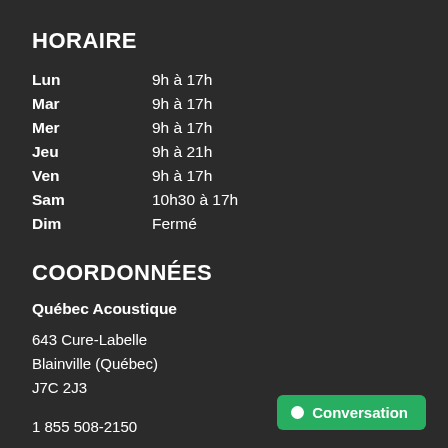HORAIRE
| Lun | 9h à 17h |
| Mar | 9h à 17h |
| Mer | 9h à 17h |
| Jeu | 9h à 21h |
| Ven | 9h à 17h |
| Sam | 10h30 à 17h |
| Dim | Fermé |
COORDONNÉES
Québec Acoustique
643 Cure-Labelle
Blainville (Québec)
J7C 2J3
1 855 508-2150
1 450 508-2150
Conversation